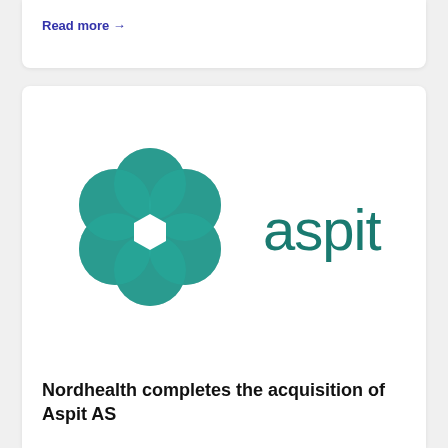Read more →
[Figure (logo): Aspit company logo: a teal flower/hexagonal shape made of overlapping circles on the left, and the text 'aspit' in teal on the right]
Nordhealth completes the acquisition of Aspit AS